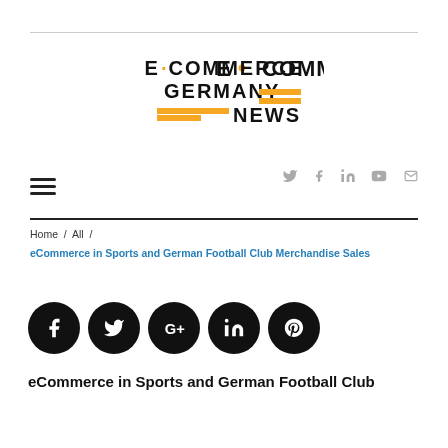[Figure (logo): E-Commerce Germany News logo in black and yellow]
Social icons: Twitter, Facebook, LinkedIn, YouTube, Email
Hamburger menu icon
Home / All / eCommerce in Sports and German Football Club Merchandise Sales
[Figure (infographic): Social share buttons: Facebook, Twitter, Google+, LinkedIn, Pinterest]
eCommerce in Sports and German Football Club